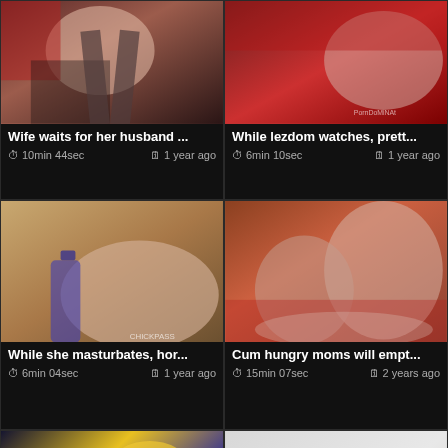[Figure (screenshot): Video thumbnail grid showing adult content video listings with titles, durations, and upload dates]
Wife waits for her husband ...
10min 44sec  1 year ago
While lezdom watches, prett...
6min 10sec  1 year ago
While she masturbates, hor...
6min 04sec  1 year ago
Cum hungry moms will empt...
15min 07sec  2 years ago
[Figure (screenshot): Bottom row video thumbnails (partially visible)]